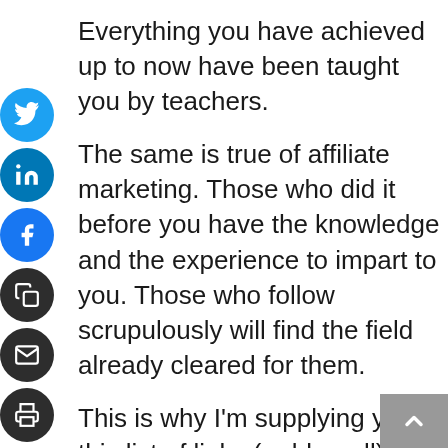Everything you have achieved up to now have been taught you by teachers.
The same is true of affiliate marketing. Those who did it before you have the knowledge and the experience to impart to you. Those who follow scrupulously will find the field already cleared for them.
This is why I'm supplying you this list of links (or blogroll) to check my favorite blogs whose resources will make you grow quickly as an affiliate marketer and blogger.